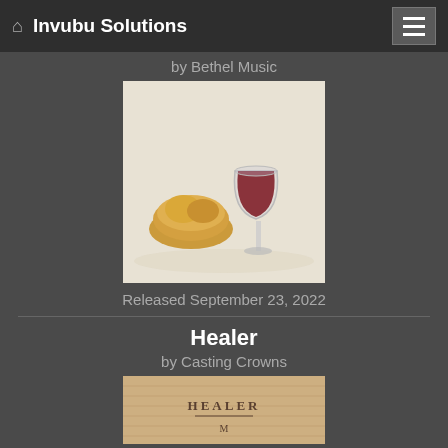Invubu Solutions
by Bethel Music
[Figure (photo): Album cover photo showing bread and a glass of red wine on a light background]
Released September 23, 2022
Healer
by Casting Crowns
[Figure (photo): Partial album cover for Healer by Casting Crowns showing the word HEALER]